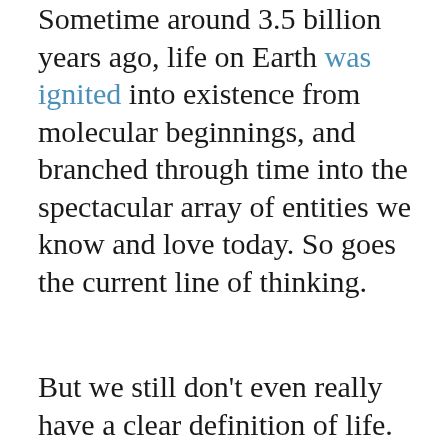Sometime around 3.5 billion years ago, life on Earth was ignited into existence from molecular beginnings, and branched through time into the spectacular array of entities we know and love today. So goes the current line of thinking.
But we still don't even really have a clear definition of life. For example, is a virus alive? Or